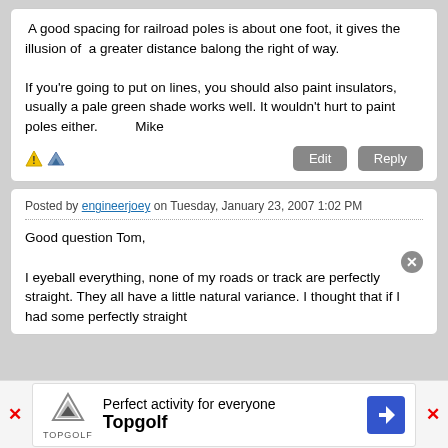A good spacing for railroad poles is about one foot, it gives the illusion of  a greater distance balong the right of way.

If you're going to put on lines, you should also paint insulators, usually a pale green shade works well. It wouldn't hurt to paint poles either.          Mike
Posted by engineerjoey on Tuesday, January 23, 2007 1:02 PM
Good question Tom,

I eyeball everything, none of my roads or track are perfectly straight. They all have a little natural variance. I thought that if I had some perfectly straight
Perfect activity for everyone  Topgolf